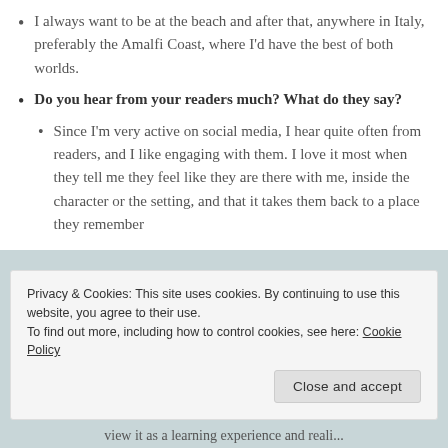I always want to be at the beach and after that, anywhere in Italy, preferably the Amalfi Coast, where I'd have the best of both worlds.
Do you hear from your readers much? What do they say?
Since I'm very active on social media, I hear quite often from readers, and I like engaging with them. I love it most when they tell me they feel like they are there with me, inside the character or the setting, and that it takes them back to a place they remember
Privacy & Cookies: This site uses cookies. By continuing to use this website, you agree to their use.
To find out more, including how to control cookies, see here: Cookie Policy
view it as a learning experience and reali...